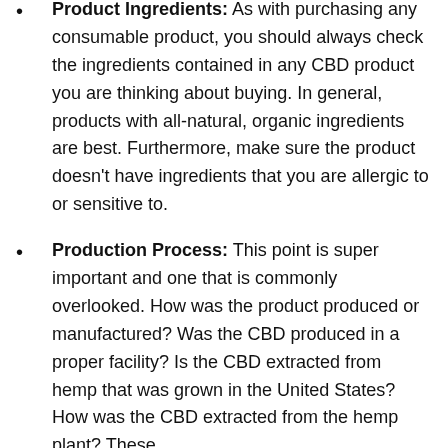Product Ingredients: As with purchasing any consumable product, you should always check the ingredients contained in any CBD product you are thinking about buying. In general, products with all-natural, organic ingredients are best. Furthermore, make sure the product doesn't have ingredients that you are allergic to or sensitive to.
Production Process: This point is super important and one that is commonly overlooked. How was the product produced or manufactured? Was the CBD produced in a proper facility? Is the CBD extracted from hemp that was grown in the United States? How was the CBD extracted from the hemp plant? These